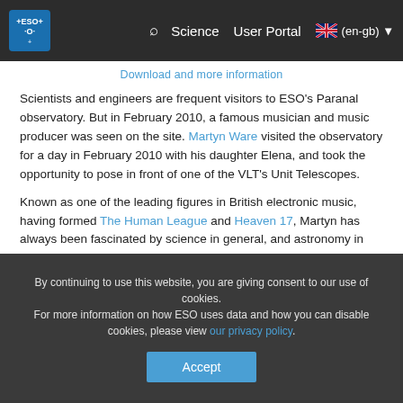ESO navigation bar with logo, search, Science, User Portal, (en-gb) language selector
Download and more information
Scientists and engineers are frequent visitors to ESO's Paranal observatory. But in February 2010, a famous musician and music producer was seen on the site. Martyn Ware visited the observatory for a day in February 2010 with his daughter Elena, and took the opportunity to pose in front of one of the VLT's Unit Telescopes.
Known as one of the leading figures in British electronic music, having formed The Human League and Heaven 17, Martyn has always been fascinated by science in general, and astronomy in particular. He had wanted to see the home of ESO's flagship observatory for some time. The opportunity for Martyn to visit Paranal came during a family vacation in San Pedro de Atacama, about 360 km from the ESO observatory.
By continuing to use this website, you are giving consent to our use of cookies.
For more information on how ESO uses data and how you can disable cookies, please view our privacy policy.